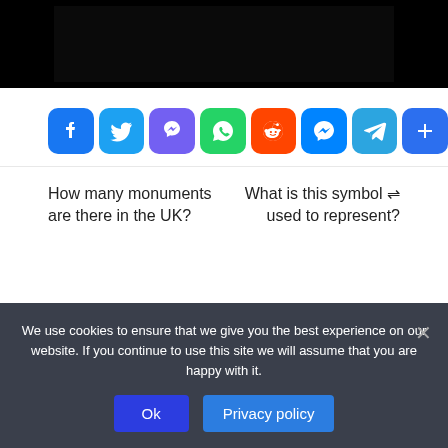[Figure (photo): Dark/black image area at top of page]
[Figure (infographic): Row of social sharing buttons: Facebook, Twitter, Viber, WhatsApp, Reddit, Messenger, Telegram, More (plus)]
How many monuments are there in the UK?
What is this symbol ⇌ used to represent?
We use cookies to ensure that we give you the best experience on our website. If you continue to use this site we will assume that you are happy with it.
Ok
Privacy policy